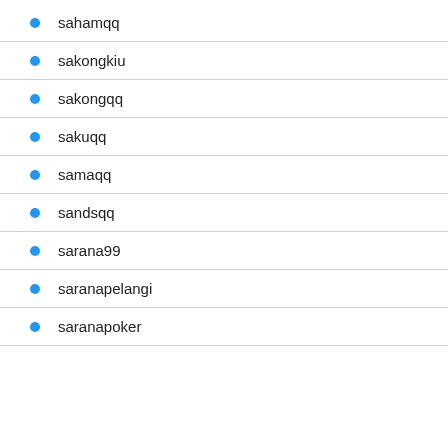sahamqq
sakongkiu
sakongqq
sakuqq
samaqq
sandsqq
sarana99
saranapelangi
saranapoker